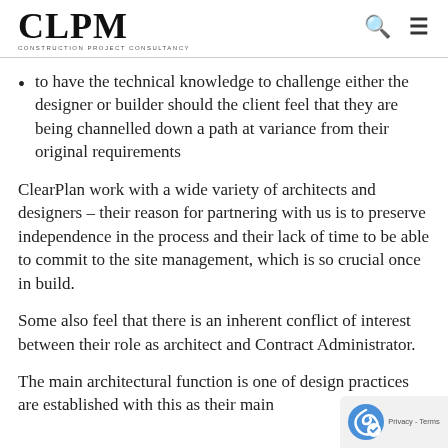CLPM CONSTRUCTION PROJECT CONSULTANCY
to have the technical knowledge to challenge either the designer or builder should the client feel that they are being channelled down a path at variance from their original requirements
ClearPlan work with a wide variety of architects and designers – their reason for partnering with us is to preserve independence in the process and their lack of time to be able to commit to the site management, which is so crucial once in build.
Some also feel that there is an inherent conflict of interest between their role as architect and Contract Administrator.
The main architectural function is one of design practices are established with this as their main